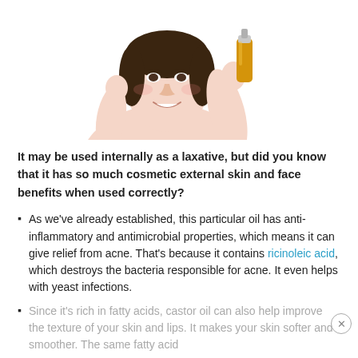[Figure (photo): A smiling young Asian woman holding a bottle of oil serum, photographed against a white background from the waist up.]
It may be used internally as a laxative, but did you know that it has so much cosmetic external skin and face benefits when used correctly?
As we've already established, this particular oil has anti-inflammatory and antimicrobial properties, which means it can give relief from acne. That's because it contains ricinoleic acid, which destroys the bacteria responsible for acne. It even helps with yeast infections.
Since it's rich in fatty acids, castor oil can also help improve the texture of your skin and lips. It makes your skin softer and smoother. The same fatty acid